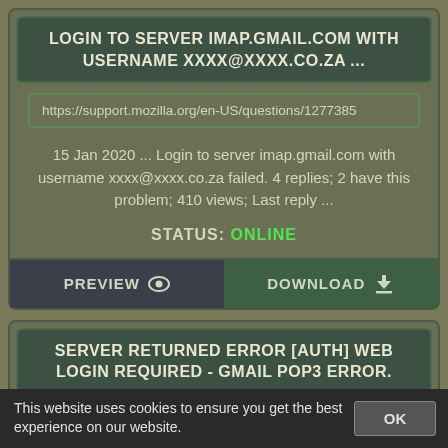LOGIN TO SERVER IMAP.GMAIL.COM WITH USERNAME XXXX@XXXX.CO.ZA ...
https://support.mozilla.org/en-US/questions/1277385
15 Jan 2020 ... Login to server imap.gmail.com with username xxxx@xxxx.co.za failed. 4 replies; 2 have this problem; 410 views; Last reply ...
STATUS: ONLINE
PREVIEW
DOWNLOAD
SERVER RETURNED ERROR [AUTH] WEB LOGIN REQUIRED - GMAIL POP3 ERROR.
This website uses cookies to ensure you get the best experience on our website.